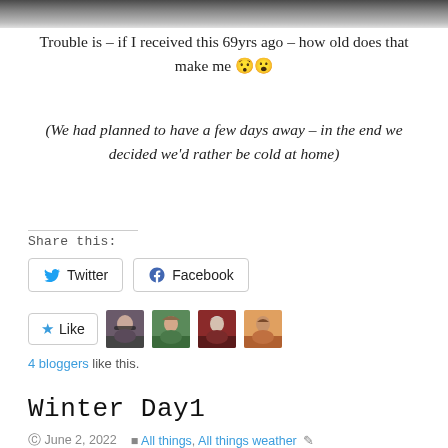[Figure (photo): Dark textured banner image at top of page, appears to be a landscape or abstract texture in dark grey/black tones]
Trouble is – if I received this 69yrs ago – how old does that make me 😯😮
(We had planned to have a few days away – in the end we decided we'd rather be cold at home)
Share this:
[Figure (screenshot): Twitter and Facebook share buttons]
[Figure (screenshot): Like button with 4 blogger avatar thumbnails]
4 bloggers like this.
Winter Day1
© June 2, 2022   All things, All things weather